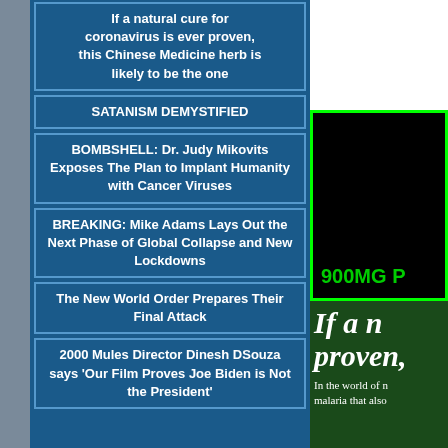If a natural cure for coronavirus is ever proven, this Chinese Medicine herb is likely to be the one
SATANISM DEMYSTIFIED
BOMBSHELL: Dr. Judy Mikovits Exposes The Plan to Implant Humanity with Cancer Viruses
BREAKING: Mike Adams Lays Out the Next Phase of Global Collapse and New Lockdowns
The New World Order Prepares Their Final Attack
2000 Mules Director Dinesh DSouza says 'Our Film Proves Joe Biden is Not the President'
[Figure (other): White rectangle (partially visible advertisement area)]
[Figure (other): Black box with green border showing '900MG P' text in green (product advertisement, partially cropped)]
If a n proven,
In the world of n malaria that also